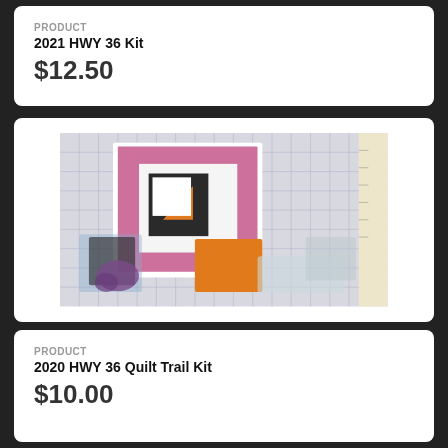PRODUCT
2021 HWY 36 Kit
$12.50
[Figure (photo): Quilt trail kit photograph showing a quilt block pattern card with pink floral border and black center, alongside fabric swatches and packaged materials on a gridded cutting mat]
PRODUCT
2020 HWY 36 Quilt Trail Kit
$10.00